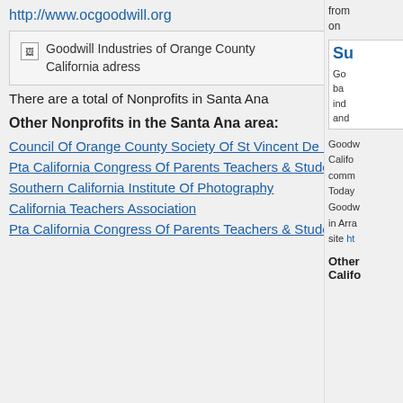http://www.ocgoodwill.org
[Figure (other): Goodwill Industries of Orange County California address image placeholder]
There are a total of Nonprofits in Santa Ana
Other Nonprofits in the Santa Ana area:
Council Of Orange County Society Of St Vincent De Paul
Pta California Congress Of Parents Teachers & Students Inc
Southern California Institute Of Photography
California Teachers Association
Pta California Congress Of Parents Teachers & Students Inc
from on
Su
Go ba ind and
Goodwill Califo comm Today Goodw in Arra site ht
Other Califo